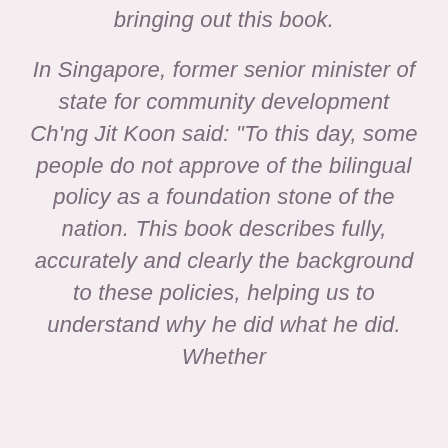bringing out this book.
In Singapore, former senior minister of state for community development Ch'ng Jit Koon said: "To this day, some people do not approve of the bilingual policy as a foundation stone of the nation. This book describes fully, accurately and clearly the background to these policies, helping us to understand why he did what he did. Whether